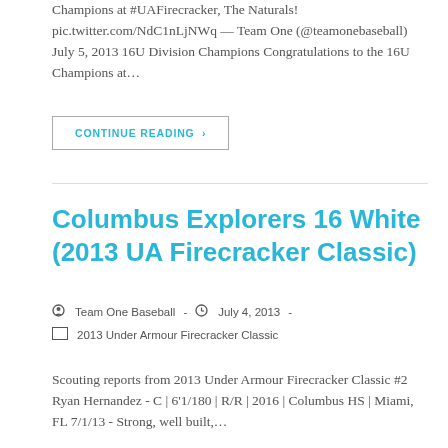Champions at #UAFirecracker, The Naturals! pic.twitter.com/NdC1nLjNWq — Team One (@teamonebaseball) July 5, 2013 16U Division Champions Congratulations to the 16U Champions at…
CONTINUE READING ›
Columbus Explorers 16 White (2013 UA Firecracker Classic)
Team One Baseball  -  July 4, 2013  -
2013 Under Armour Firecracker Classic
Scouting reports from 2013 Under Armour Firecracker Classic #2 Ryan Hernandez - C | 6'1/180 | R/R | 2016 | Columbus HS | Miami, FL 7/1/13 - Strong, well built,…